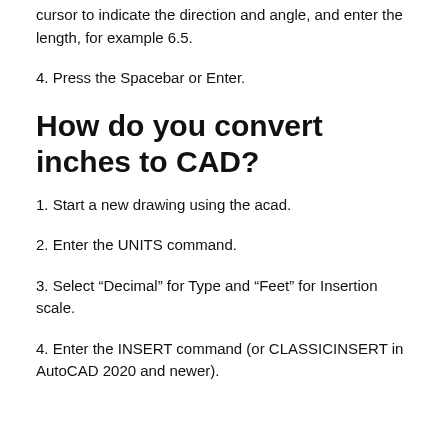cursor to indicate the direction and angle, and enter the length, for example 6.5.
4. Press the Spacebar or Enter.
How do you convert inches to CAD?
1. Start a new drawing using the acad.
2. Enter the UNITS command.
3. Select “Decimal” for Type and “Feet” for Insertion scale.
4. Enter the INSERT command (or CLASSICINSERT in AutoCAD 2020 and newer).